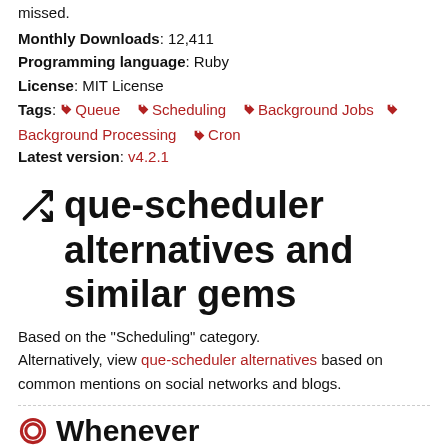missed.
Monthly Downloads: 12,411
Programming language: Ruby
License: MIT License
Tags: Queue  Scheduling  Background Jobs  Background Processing  Cron
Latest version: v4.2.1
que-scheduler alternatives and similar gems
Based on the "Scheduling" category.
Alternatively, view que-scheduler alternatives based on common mentions on social networks and blogs.
Whenever